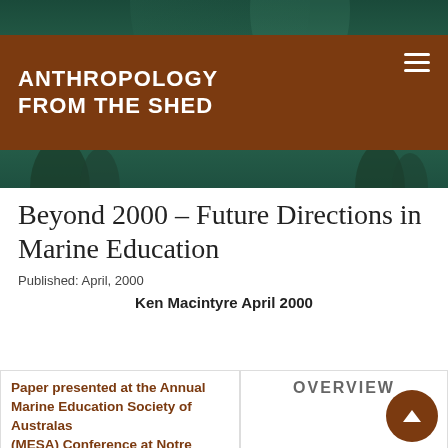[Figure (photo): Underwater scuba diver photograph forming the website header background, with teal/green ocean tones.]
ANTHROPOLOGY FROM THE SHED
Beyond 2000 – Future Directions in Marine Education
Published: April, 2000
Ken Macintyre April 2000
OVERVIEW
Paper presented at the Annual Marine Education Society of Australasia (MESA) Conference at Notre Dame University, Fremantle, Western Australia